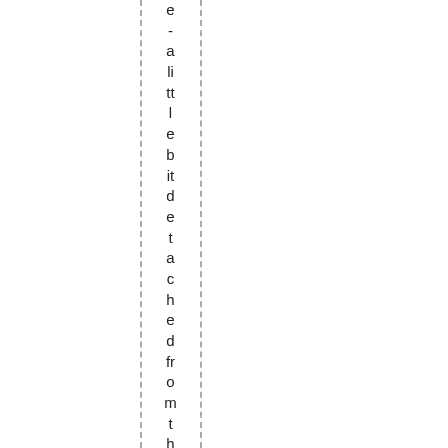e-alittlebitdetachedfromtheinforma